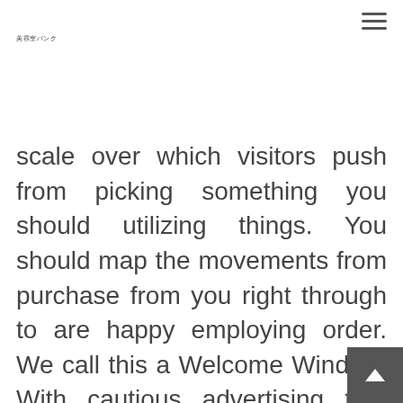美容室バンク
scale over which visitors push from picking something you should utilizing things. You should map the movements from purchase from you right through to are happy employing order. We call this a Welcome Window. With cautious advertising that cheers them and material that supports all of them in getting the worthiness these people were searching for, your reduce steadily the variety of people who put before making income, and increase the quantity of positive sounds on the market performing your